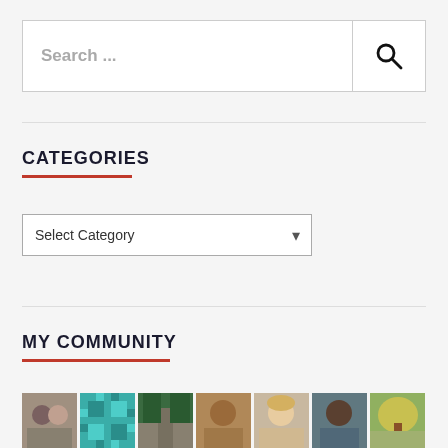[Figure (screenshot): Search input box with placeholder text 'Search ...' and a magnifying glass icon button on the right]
CATEGORIES
[Figure (screenshot): A dropdown select element labeled 'Select Category']
MY COMMUNITY
[Figure (photo): A row of seven community member profile thumbnails/avatars]